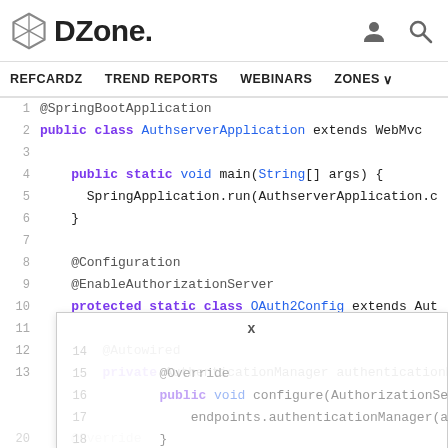DZone. | REFCARDZ | TREND REPORTS | WEBINARS | ZONES
[Figure (screenshot): Java code snippet showing AuthserverApplication class with @SpringBootApplication, main method, @Configuration, @EnableAuthorizationServer, OAuth2Config class extending Auth..., @Autowired AuthenticationManager, @Override configure method. Lines 1-20 visible with a popup overlay showing X close button and faded lines 14-20.]